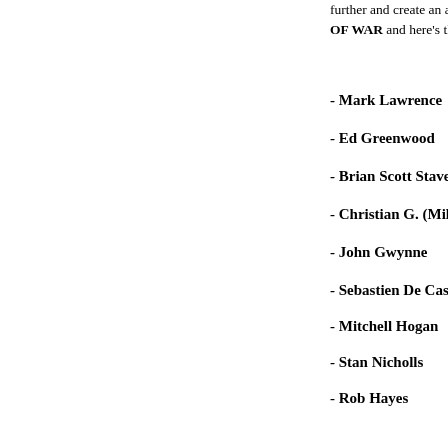further and create an antho OF WAR and here's the in
- Mark Lawrence
- Ed Greenwood
- Brian Scott Staveley
- Christian G. (Miles) Ca
- John Gwynne
- Sebastien De Castell
- Mitchell Hogan
- Stan Nicholls
- Rob Hayes
- Charles Phipps
- Mazarkis Williams
- Ben Galley
- Graham Austin-King